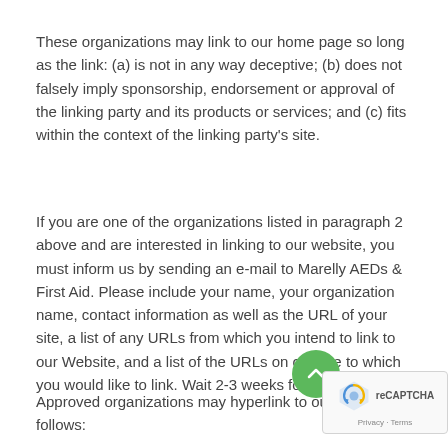These organizations may link to our home page so long as the link: (a) is not in any way deceptive; (b) does not falsely imply sponsorship, endorsement or approval of the linking party and its products or services; and (c) fits within the context of the linking party's site.
If you are one of the organizations listed in paragraph 2 above and are interested in linking to our website, you must inform us by sending an e-mail to Marelly AEDs & First Aid. Please include your name, your organization name, contact information as well as the URL of your site, a list of any URLs from which you intend to link to our Website, and a list of the URLs on our site to which you would like to link. Wait 2-3 weeks for a response.
Approved organizations may hyperlink to our Website as follows: